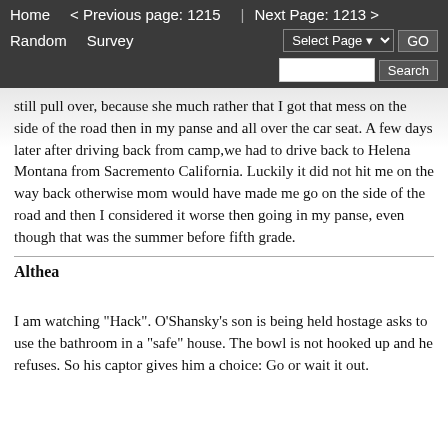Home  < Previous page: 1215  |  Next Page: 1213 >  Random  Survey  Select Page  GO  Search
still pull over, because she much rather that I got that mess on the side of the road then in my panse and all over the car seat. A few days later after driving back from camp,we had to drive back to Helena Montana from Sacremento California. Luckily it did not hit me on the way back otherwise mom would have made me go on the side of the road and then I considered it worse then going in my panse, even though that was the summer before fifth grade.
Althea
I am watching "Hack". O'Shansky's son is being held hostage asks to use the bathroom in a "safe" house. The bowl is not hooked up and he refuses. So his captor gives him a choice: Go or wait it out.